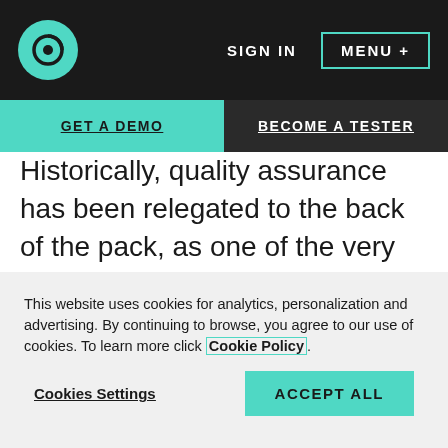SIGN IN   MENU +
GET A DEMO   BECOME A TESTER
Historically, quality assurance has been relegated to the back of the pack, as one of the very last picks in the disciplined pickup game that is the development life cycle. Waterfall methods are notorious for pushing testing and other quality control practices toward the end of the process, which often leads to a mad
This website uses cookies for analytics, personalization and advertising. By continuing to browse, you agree to our use of cookies. To learn more click Cookie Policy
Cookies Settings
ACCEPT ALL